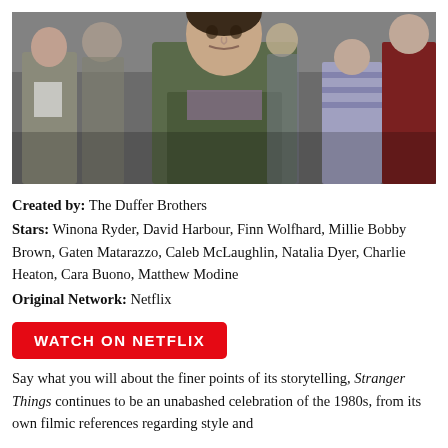[Figure (photo): A young boy in a dark olive jacket and plaid shirt stands in front of a crowd of people outdoors, looking forward. Still from Stranger Things.]
Created by: The Duffer Brothers
Stars: Winona Ryder, David Harbour, Finn Wolfhard, Millie Bobby Brown, Gaten Matarazzo, Caleb McLaughlin, Natalia Dyer, Charlie Heaton, Cara Buono, Matthew Modine
Original Network: Netflix
WATCH ON NETFLIX
Say what you will about the finer points of its storytelling, Stranger Things continues to be an unabashed celebration of the 1980s, from its own filmic references regarding style and